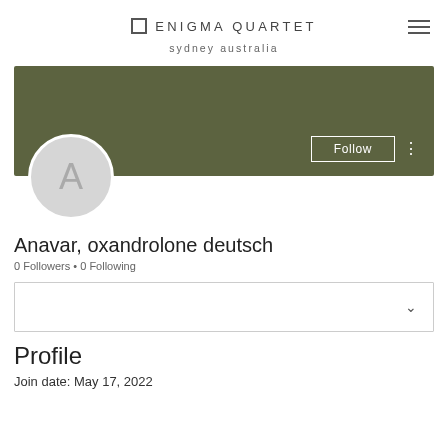ENIGMA QUARTET
sydney australia
[Figure (screenshot): User profile banner with olive/khaki green background, a Follow button with white border, and three vertical dots menu icon]
Anavar, oxandrolone deutsch
0 Followers • 0 Following
[Figure (screenshot): Dropdown selector box with chevron/down arrow on the right]
Profile
Join date: May 17, 2022